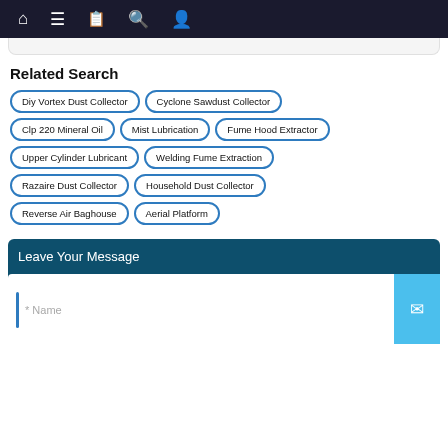Navigation bar with home, menu, book, search, and user icons
Related Search
Diy Vortex Dust Collector
Cyclone Sawdust Collector
Clp 220 Mineral Oil
Mist Lubrication
Fume Hood Extractor
Upper Cylinder Lubricant
Welding Fume Extraction
Razaire Dust Collector
Household Dust Collector
Reverse Air Baghouse
Aerial Platform
Leave Your Message
* Name